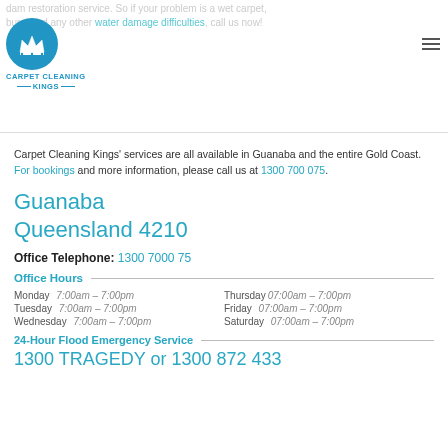damage restoration service. So if your problem is a wet carpet, burst pipes and any other water damage difficulties, call us now!
[Figure (logo): Carpet Cleaning Kings logo: blue circle with crown icon, text 'CARPET CLEANING KINGS' below]
Carpet Cleaning Kings' services are all available in Guanaba and the entire Gold Coast. For bookings and more information, please call us at 1300 700 075.
Guanaba
Queensland 4210
Office Telephone: 1300 7000 75
Office Hours
Monday 7:00am – 7:00pm
Tuesday 7:00am – 7:00pm
Wednesday 7:00am – 7:00pm
Thursday 07:00am – 7:00pm
Friday 07:00am – 7:00pm
Saturday 07:00am – 7:00pm
24-Hour Flood Emergency Service
1300 TRAGEDY or 1300 872 433